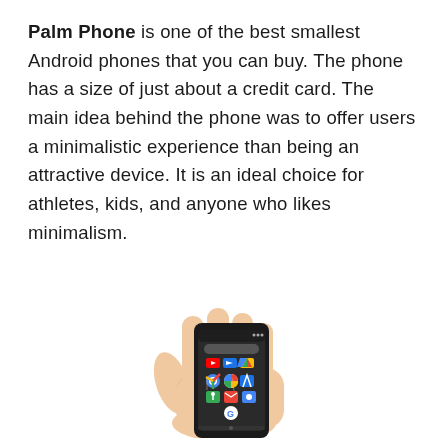Palm Phone is one of the best smallest Android phones that you can buy. The phone has a size of just about a credit card. The main idea behind the phone was to offer users a minimalistic experience than being an attractive device. It is an ideal choice for athletes, kids, and anyone who likes minimalism.
[Figure (photo): A hand holding a small Palm Phone (about credit card sized) with Android app icons visible on the screen, including YouTube, Google Play, Chrome, Google Photos, Google Drive, Google Maps, Gmail, and the Google G logo.]